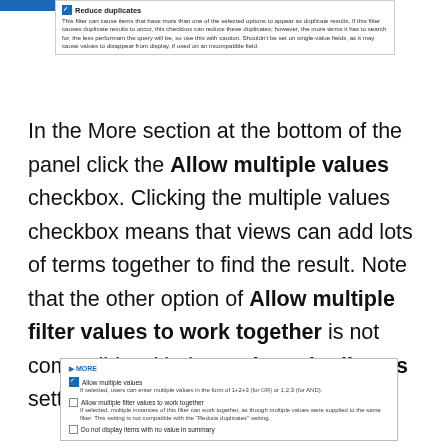[Figure (screenshot): UI screenshot showing Reduce duplicates checkbox with description text and blue header bar]
In the More section at the bottom of the panel click the Allow multiple values checkbox. Clicking the multiple values checkbox means that views can add lots of terms together to find the result. Note that the other option of Allow multiple filter values to work together is not compatible with the Reduce duplicates setting from above.
[Figure (screenshot): UI screenshot showing MORE section with Allow multiple values checkbox checked, Allow multiple filter values to work together unchecked, and Do not display items with no value in summary unchecked]